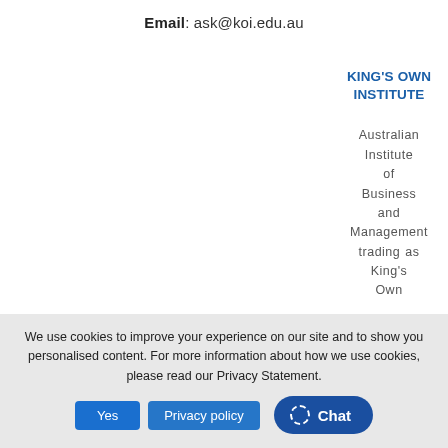Email: ask@koi.edu.au
KING'S OWN INSTITUTE
Australian Institute of Business and Management trading as King's Own
We use cookies to improve your experience on our site and to show you personalised content. For more information about how we use cookies, please read our Privacy Statement.